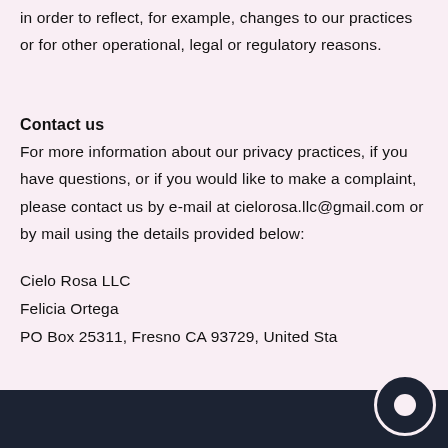in order to reflect, for example, changes to our practices or for other operational, legal or regulatory reasons.
Contact us
For more information about our privacy practices, if you have questions, or if you would like to make a complaint, please contact us by e-mail at cielorosa.llc@gmail.com or by mail using the details provided below:
Cielo Rosa LLC
Felicia Ortega
PO Box 25311, Fresno CA 93729, United Sta